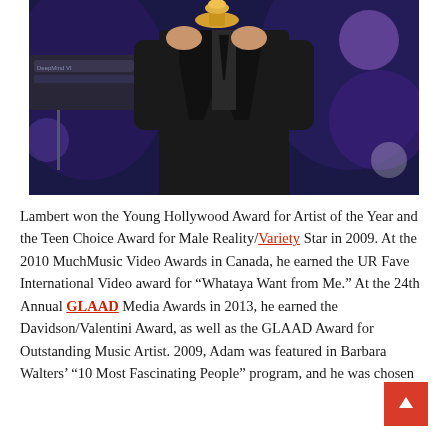[Figure (photo): A person in a dark suit holding a golden award trophy on stage with blue and purple stage lighting in the background.]
Lambert won the Young Hollywood Award for Artist of the Year and the Teen Choice Award for Male Reality/Variety Star in 2009. At the 2010 MuchMusic Video Awards in Canada, he earned the UR Fave International Video award for “Whataya Want from Me.” At the 24th Annual GLAAD Media Awards in 2013, he earned the Davidson/Valentini Award, as well as the GLAAD Award for Outstanding Music Artist. 2009, Adam was featured in Barbara Walters’ “10 Most Fascinating People” program, and he was chosen